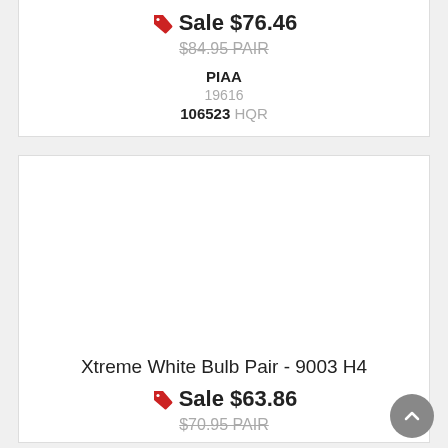Sale $76.46
$84.95 PAIR
PIAA
19616
106523 HQR
Xtreme White Bulb Pair - 9003 H4
Sale $63.86
$70.95 PAIR